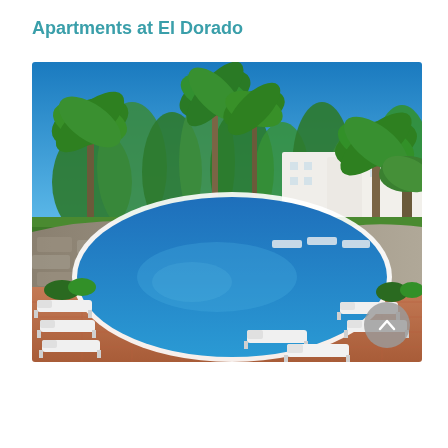Apartments at El Dorado
[Figure (photo): Outdoor swimming pool area at El Dorado apartments. Large oval blue swimming pool surrounded by terracotta-tiled deck with white sun loungers. Lush palm trees and tropical vegetation in background under bright blue sky. White apartment buildings visible in background.]